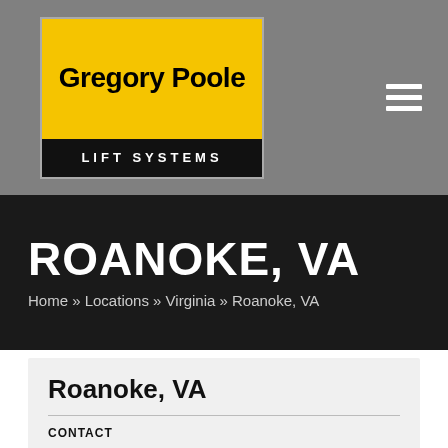[Figure (logo): Gregory Poole Lift Systems logo — yellow background with bold black text 'Gregory Poole' and black bar below reading 'LIFT SYSTEMS']
ROANOKE, VA
Home » Locations » Virginia » Roanoke, VA
Roanoke, VA
CONTACT
116-A Liberty Road NE
Roanoke, Virginia 24012